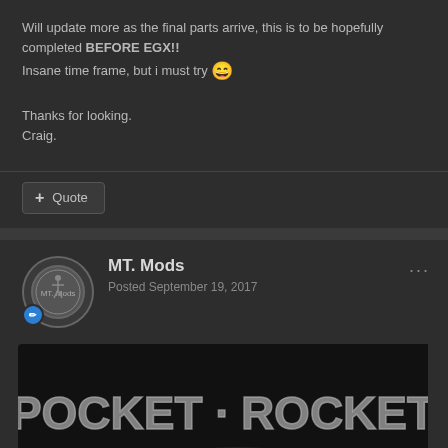Will update more as the final parts arrive, this is to be hopefully completed BEFORE EGX!!
Insane time frame, but i must try 😄
Thanks for looking.
Craig.
+ Quote
MT. Mods
Posted September 19, 2017
[Figure (illustration): Banner image for 'Pocket Rocket' mod with logos: cablemod, TEAMGROUP, and ASUS Republic of Gamers on a dark smoky background]